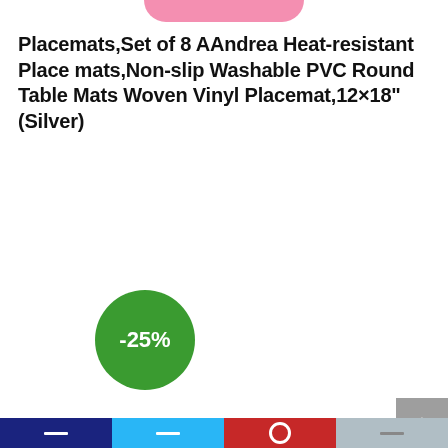[Figure (other): Pink rounded banner at the top center of the page (partial, cropped)]
Placemats,Set of 8 AAndrea Heat-resistant Place mats,Non-slip Washable PVC Round Table Mats Woven Vinyl Placemat,12×18" (Silver)
[Figure (infographic): Green circular discount badge showing -25%]
[Figure (other): Gray back-to-top button with upward chevron arrow at bottom right]
Navigation bar with four colored segments: dark blue, light blue, red, and gray